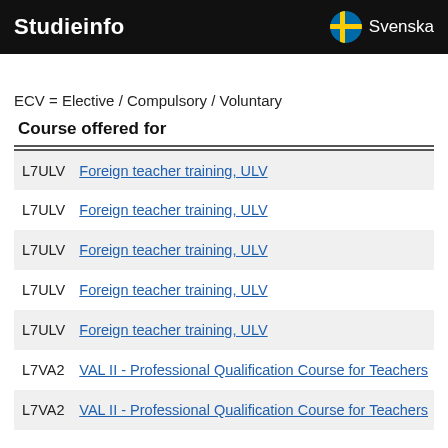Studieinfo   Svenska
ECV = Elective / Compulsory / Voluntary
Course offered for
| Code | Course |
| --- | --- |
| L7ULV | Foreign teacher training, ULV |
| L7ULV | Foreign teacher training, ULV |
| L7ULV | Foreign teacher training, ULV |
| L7ULV | Foreign teacher training, ULV |
| L7ULV | Foreign teacher training, ULV |
| L7VA2 | VAL II - Professional Qualification Course for Teachers |
| L7VA2 | VAL II - Professional Qualification Course for Teachers |